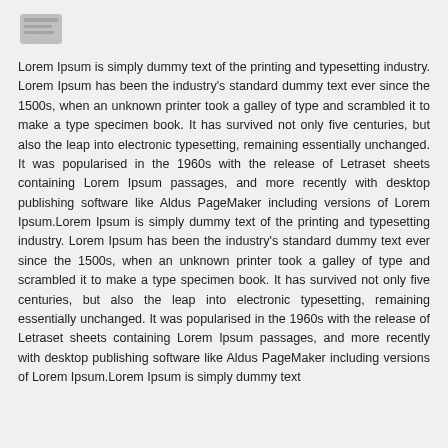[Figure (other): Small grayscale icon resembling a document or note in the top-left corner]
Lorem Ipsum is simply dummy text of the printing and typesetting industry. Lorem Ipsum has been the industry's standard dummy text ever since the 1500s, when an unknown printer took a galley of type and scrambled it to make a type specimen book. It has survived not only five centuries, but also the leap into electronic typesetting, remaining essentially unchanged. It was popularised in the 1960s with the release of Letraset sheets containing Lorem Ipsum passages, and more recently with desktop publishing software like Aldus PageMaker including versions of Lorem Ipsum.Lorem Ipsum is simply dummy text of the printing and typesetting industry. Lorem Ipsum has been the industry's standard dummy text ever since the 1500s, when an unknown printer took a galley of type and scrambled it to make a type specimen book. It has survived not only five centuries, but also the leap into electronic typesetting, remaining essentially unchanged. It was popularised in the 1960s with the release of Letraset sheets containing Lorem Ipsum passages, and more recently with desktop publishing software like Aldus PageMaker including versions of Lorem Ipsum.Lorem Ipsum is simply dummy text